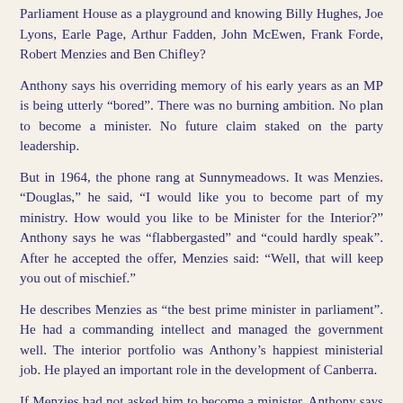Parliament House as a playground and knowing Billy Hughes, Joe Lyons, Earle Page, Arthur Fadden, John McEwen, Frank Forde, Robert Menzies and Ben Chifley?
Anthony says his overriding memory of his early years as an MP is being utterly “bored”. There was no burning ambition. No plan to become a minister. No future claim staked on the party leadership.
But in 1964, the phone rang at Sunnymeadows. It was Menzies. “Douglas,” he said, “I would like you to become part of my ministry. How would you like to be Minister for the Interior?” Anthony says he was “flabbergasted” and “could hardly speak”. After he accepted the offer, Menzies said: “Well, that will keep you out of mischief.”
He describes Menzies as “the best prime minister in parliament”. He had a commanding intellect and managed the government well. The interior portfolio was Anthony’s happiest ministerial job. He played an important role in the development of Canberra.
If Menzies had not asked him to become a minister, Anthony says he probably would have called it quits and returned to farming.